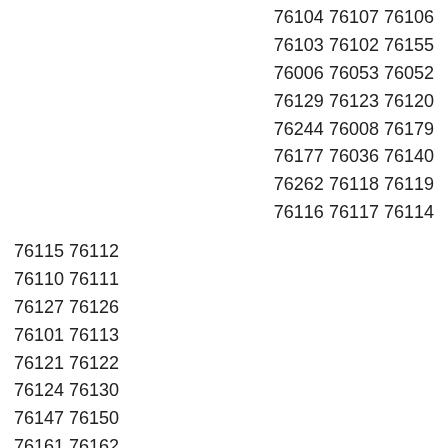76104 76107 76106
76103 76102 76155
76006 76053 76052
76129 76123 76120
76244 76008 76179
76177 76036 76140
76262 76118 76119
76116 76117 76114
76115 76112
76110 76111
76127 76126
76101 76113
76121 76122
76124 76130
76147 76150
76161 76162
76163 76166
76190 76191